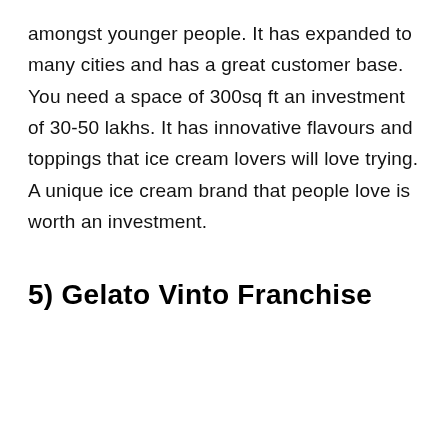amongst younger people. It has expanded to many cities and has a great customer base. You need a space of 300sq ft an investment of 30-50 lakhs. It has innovative flavours and toppings that ice cream lovers will love trying. A unique ice cream brand that people love is worth an investment.
5) Gelato Vinto Franchise